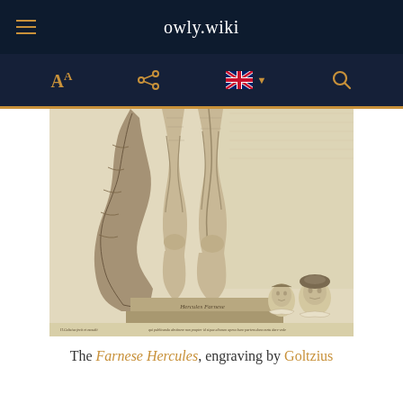owly.wiki
[Figure (illustration): Engraving of the Farnese Hercules by Goltzius, showing the lower body and legs of the statue from behind, with two small portrait busts in the lower right corner and a Latin inscription on the base.]
The Farnese Hercules, engraving by Goltzius